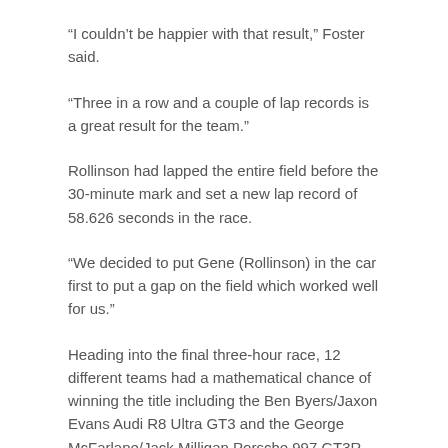“I couldn’t be happier with that result,” Foster said.
“Three in a row and a couple of lap records is a great result for the team.”
Rollinson had lapped the entire field before the 30-minute mark and set a new lap record of 58.626 seconds in the race.
“We decided to put Gene (Rollinson) in the car first to put a gap on the field which worked well for us.”
Heading into the final three-hour race, 12 different teams had a mathematical chance of winning the title including the Ben Byers/Jaxon Evans Audi R8 Ultra GT3 and the George McFarlane/Jack Milligan Porsche 997 GT3R. Both suffered transmission problems with the Audi retiring and the Porsche rejoining the race but